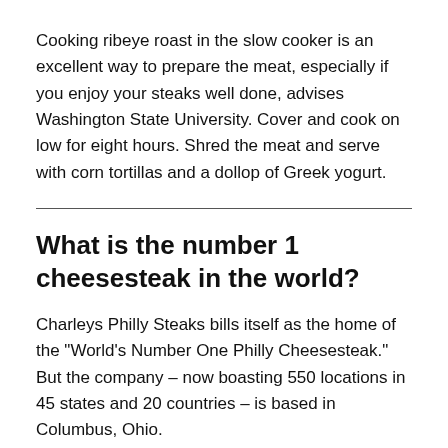Cooking ribeye roast in the slow cooker is an excellent way to prepare the meat, especially if you enjoy your steaks well done, advises Washington State University. Cover and cook on low for eight hours. Shred the meat and serve with corn tortillas and a dollop of Greek yogurt.
What is the number 1 cheesesteak in the world?
Charleys Philly Steaks bills itself as the home of the "World's Number One Philly Cheesesteak." But the company – now boasting 550 locations in 45 states and 20 countries – is based in Columbus, Ohio.